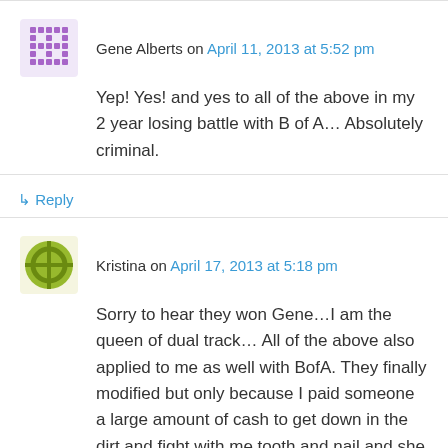Gene Alberts on April 11, 2013 at 5:52 pm
Yep! Yes! and yes to all of the above in my 2 year losing battle with B of A… Absolutely criminal.
↳ Reply
Kristina on April 17, 2013 at 5:18 pm
Sorry to hear they won Gene…I am the queen of dual track… All of the above also applied to me as well with BofA. They finally modified but only because I paid someone a large amount of cash to get down in the dirt and fight with me tooth and nail and she had connections with their